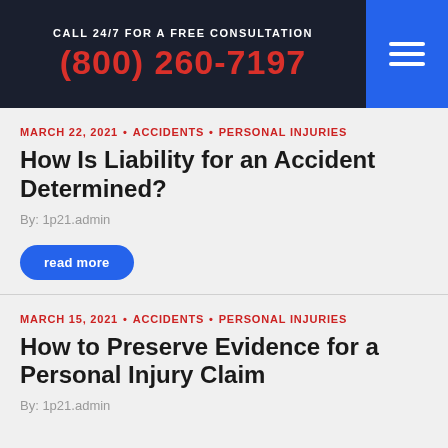CALL 24/7 FOR A FREE CONSULTATION (800) 260-7197
MARCH 22, 2021 • ACCIDENTS • PERSONAL INJURIES
How Is Liability for an Accident Determined?
By: 1p21.admin
read more
MARCH 15, 2021 • ACCIDENTS • PERSONAL INJURIES
How to Preserve Evidence for a Personal Injury Claim
By: 1p21.admin